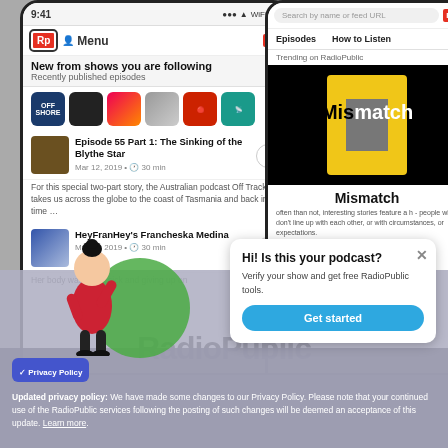[Figure (screenshot): RadioPublic app screenshots on two iPhones. Left phone shows the app home feed with 'New from shows you are following', podcast icons, and episode listings for 'Episode 55 Part 1: The Sinking of the Blythe Star' and 'HeyFranHey's Francheska Medina'. Right phone shows 'Trending on RadioPublic' with the Mismatch podcast cover art and description. Below the phones is the RadioPublic wordmark logo.]
RadioPublic
Hi! Is this your podcast?
Verify your show and get free RadioPublic tools.
Get started
Updated privacy policy: We have made some changes to our Privacy Policy. Please note that your continued use of the RadioPublic services following the posting of such changes will be deemed an acceptance of this update. Learn more.